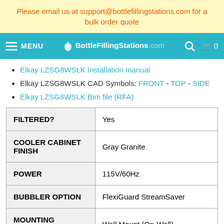Please email us at support@bottlefillingstations.com for a bulk order quote
MENU BottleFillingStations.com 0
Elkay LZSG8WSLK Installation manual
Elkay LZSG8WSLK CAD Symbols: FRONT - TOP - SIDE
Elkay LZSG8WSLK Bim file (RFA)
| Property | Value |
| --- | --- |
| FILTERED? | Yes |
| COOLER CABINET FINISH | Gray Granite |
| POWER | 115V/60Hz |
| BUBBLER OPTION | FlexiGuard StreamSaver |
| MOUNTING DETAILS | Wall Mount (On-Wall) |